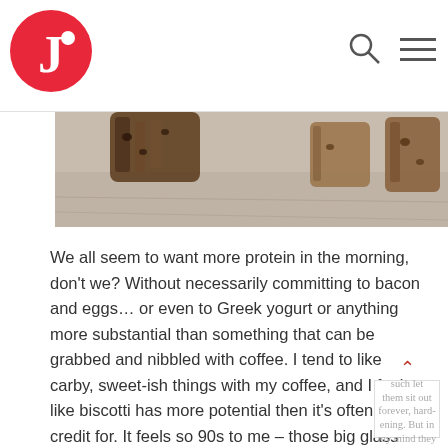J logo, search icon, menu icon
[Figure (photo): Close-up photo of biscotti cookies on a light surface, partially cropped at the top]
We all seem to want more protein in the morning, don't we? Without necessarily committing to bacon and eggs… or even to Greek yogurt or anything more substantial than something that can be grabbed and nibbled with coffee. I tend to like carby, sweet-ish things with my coffee, and I feel like biscotti has more potential then it's often given credit for. It feels so 90s to me – those big glass jars of awkwardly long cookies, often dunked lengthwise in waxy chocolate, on the counters of coffee shops that were just starting to multiply. I think some people decided that biscotti should be hard, and as such let them sit out forever, hardening. But in my mind they should be crisp and not an effort to bite into without softening them first